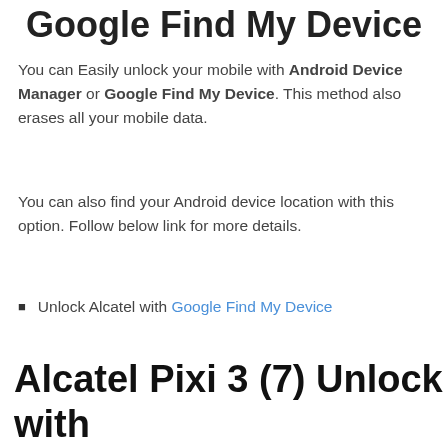Google Find My Device
You can Easily unlock your mobile with Android Device Manager or Google Find My Device. This method also erases all your mobile data.
You can also find your Android device location with this option. Follow below link for more details.
Unlock Alcatel with Google Find My Device
Alcatel Pixi 3 (7) Unlock with